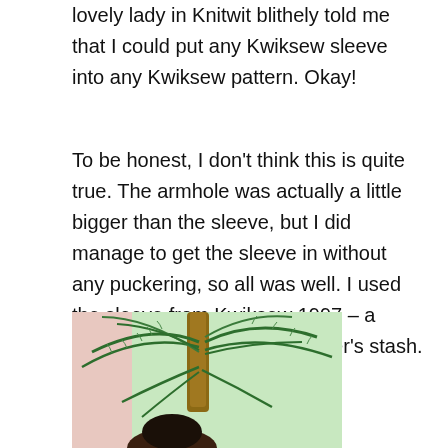lovely lady in Knitwit blithely told me that I could put any Kwiksew sleeve into any Kwiksew pattern. Okay!
To be honest, I don't think this is quite true. The armhole was actually a little bigger than the sleeve, but I did manage to get the sleeve in without any puckering, so all was well. I used the sleeve from Kwiksew 1997 – a vintage pattern from my Mother's stash.
[Figure (photo): A photo of a person partially visible, surrounded by palm tree fronds with green foliage in the background.]